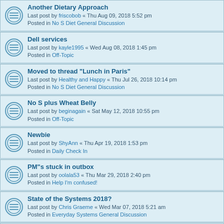Another Dietary Approach
Last post by friscobob « Thu Aug 09, 2018 5:52 pm
Posted in No S Diet General Discussion
Dell services
Last post by kayle1995 « Wed Aug 08, 2018 1:45 pm
Posted in Off-Topic
Moved to thread "Lunch in Paris"
Last post by Healthy and Happy « Thu Jul 26, 2018 10:14 pm
Posted in No S Diet General Discussion
No S plus Wheat Belly
Last post by beginagain « Sat May 12, 2018 10:55 pm
Posted in Off-Topic
Newbie
Last post by ShyAnn « Thu Apr 19, 2018 1:53 pm
Posted in Daily Check In
PM"s stuck in outbox
Last post by oolala53 « Thu Mar 29, 2018 2:40 pm
Posted in Help I'm confused!
State of the Systems 2018?
Last post by Chris Graeme « Wed Mar 07, 2018 5:21 am
Posted in Everyday Systems General Discussion
How to lose weight--according to economists
Last post by savor « Sat Feb 03, 2018 3:49 am
Posted in No S Diet General Discussion
testing time zone
Last post by jenii « Fri Jan 19, 2018 8:43 pm